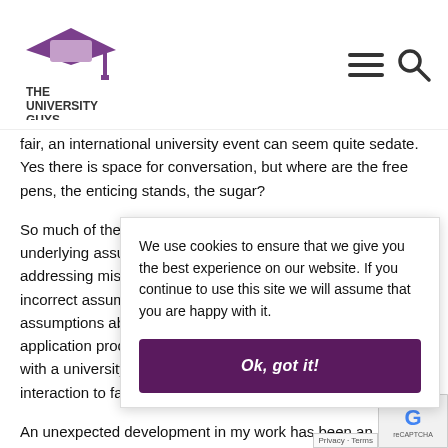The University Guys
fair, an international university event can seem quite sedate. Yes there is space for conversation, but where are the free pens, the enticing stands, the sugar?
So much of the work that I do is governed by some underlying assumptions about addressing misconceptions and incorrect assumptions about assumptions about the application process and interacting with a university, and using that interaction to fa...
We use cookies to ensure that we give you the best experience on our website. If you continue to use this site we will assume that you are happy with it.
Ok, got it!
An unexpected development in my work has been asking me to facilitate school visits for them, and I have